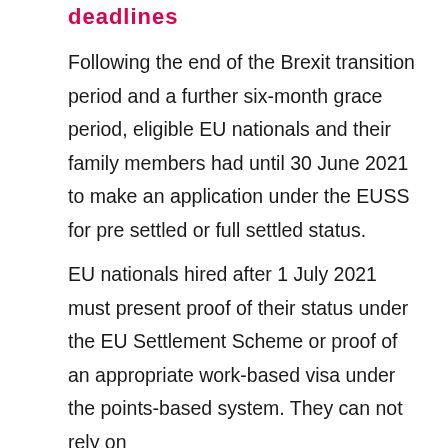deadlines
Following the end of the Brexit transition period and a further six-month grace period, eligible EU nationals and their family members had until 30 June 2021 to make an application under the EUSS for pre settled or full settled status.
EU nationals hired after 1 July 2021 must present proof of their status under the EU Settlement Scheme or proof of an appropriate work-based visa under the points-based system. They can not rely on their passport or birth certificate to prove their right to work in the UK.